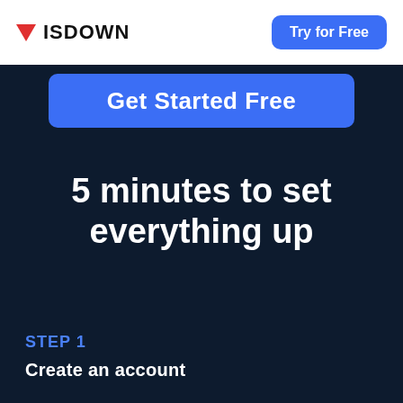ISDOWN | Try for Free
[Figure (screenshot): Blue 'Get Started Free' button]
5 minutes to set everything up
STEP 1
Create an account